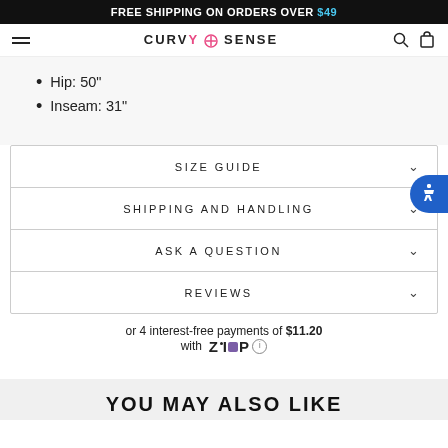FREE SHIPPING ON ORDERS OVER $49
[Figure (logo): Curvy Sense brand logo in navigation bar]
Hip: 50"
Inseam: 31"
SIZE GUIDE
SHIPPING AND HANDLING
ASK A QUESTION
REVIEWS
or 4 interest-free payments of $11.20 with Zip
YOU MAY ALSO LIKE